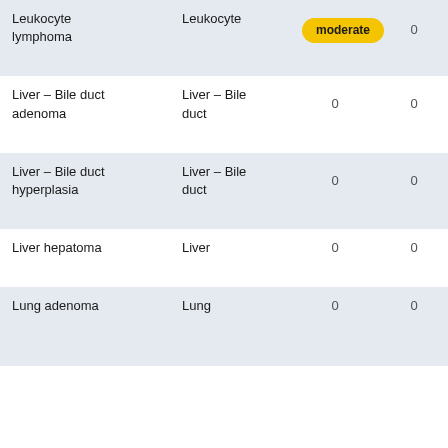| Finding | Organ | Severity/Value | Value2 |
| --- | --- | --- | --- |
| Leukocyte lymphoma | Leukocyte | moderate | 0 |
| Liver - Bile duct adenoma | Liver - Bile duct | 0 | 0 |
| Liver - Bile duct hyperplasia | Liver - Bile duct | 0 | 0 |
| Liver hepatoma | Liver | 0 | 0 |
| Lung adenoma | Lung | 0 | 0 |